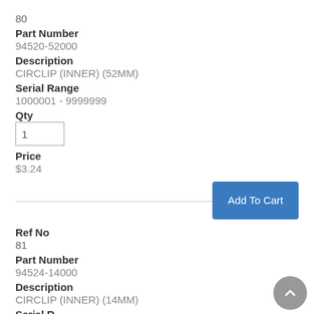80
Part Number
94520-52000
Description
CIRCLIP (INNER) (52MM)
Serial Range
1000001 - 9999999
Qty
1
Price
$3.24
Add To Cart
Ref No
81
Part Number
94524-14000
Description
CIRCLIP (INNER) (14MM)
Serial R...